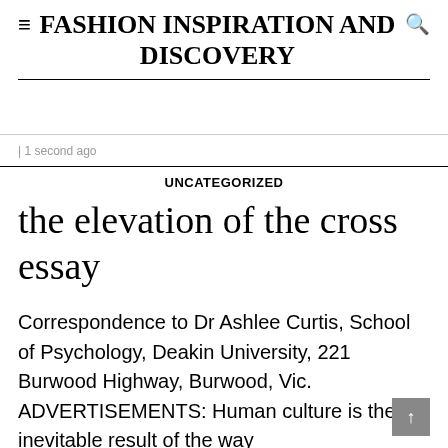≡ FASHION INSPIRATION AND DISCOVERY
| 1 second ago
UNCATEGORIZED
the elevation of the cross essay
Correspondence to Dr Ashlee Curtis, School of Psychology, Deakin University, 221 Burwood Highway, Burwood, Vic. ADVERTISEMENTS: Human culture is the inevitable result of the way